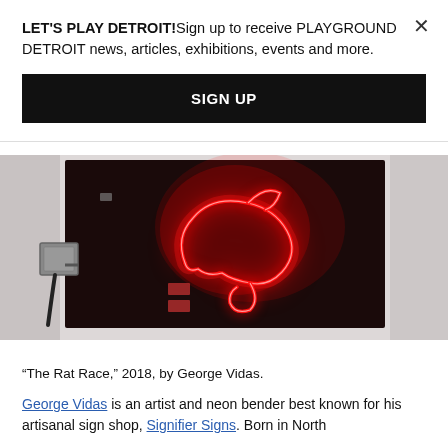LET'S PLAY DETROIT!Sign up to receive PLAYGROUND DETROIT news, articles, exhibitions, events and more.
SIGN UP
[Figure (photo): A neon art piece titled 'The Rat Race' mounted on a dark rectangular panel on a white wall. The neon light forms a red glowing rat/mouse shape. A gray electrical box is visible on the left side of the panel with wires.]
“The Rat Race,” 2018, by George Vidas.
George Vidas is an artist and neon bender best known for his artisanal sign shop, Signifier Signs. Born in North